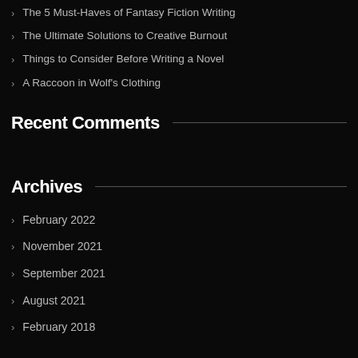The 5 Must-Haves of Fantasy Fiction Writing
The Ultimate Solutions to Creative Burnout
Things to Consider Before Writing a Novel
A Raccoon in Wolf's Clothing
Recent Comments
Archives
February 2022
November 2021
September 2021
August 2021
February 2018